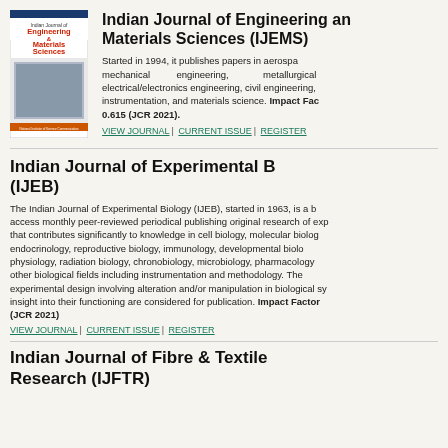[Figure (other): Cover image of Indian Journal of Engineering and Materials Sciences (IJEMS) journal]
Indian Journal of Engineering and Materials Sciences (IJEMS)
Started in 1994, it publishes papers in aerospace, mechanical engineering, metallurgical, electrical/electronics engineering, civil engineering, instrumentation, and materials science. Impact Factor: 0.615 (JCR 2021).
VIEW JOURNAL | CURRENT ISSUE | REGISTER
Indian Journal of Experimental Biology (IJEB)
The Indian Journal of Experimental Biology (IJEB), started in 1963, is a bi-access monthly peer-reviewed periodical publishing original research of experience that contributes significantly to knowledge in cell biology, molecular biology, endocrinology, reproductive biology, immunology, developmental biology, physiology, radiation biology, chronobiology, microbiology, pharmacology, other biological fields including instrumentation and methodology. The experimental design involving alteration and/or manipulation in biological systems insight into their functioning are considered for publication. Impact Factor (JCR 2021)
VIEW JOURNAL | CURRENT ISSUE | REGISTER
Indian Journal of Fibre & Textile Research (IJFTR)